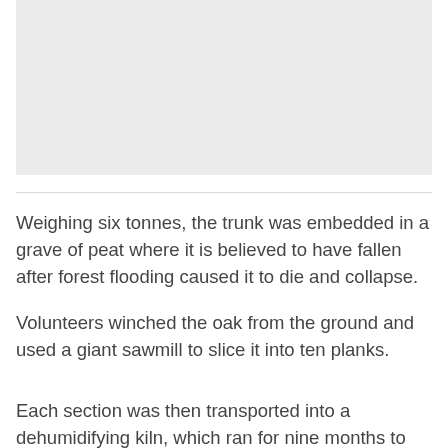[Figure (other): Light gray rectangular image placeholder at the top of the page]
Weighing six tonnes, the trunk was embedded in a grave of peat where it is believed to have fallen after forest flooding caused it to die and collapse.
Volunteers winched the oak from the ground and used a giant sawmill to slice it into ten planks.
Each section was then transported into a dehumidifying kiln, which ran for nine months to dry the wood and prevent deterioration.